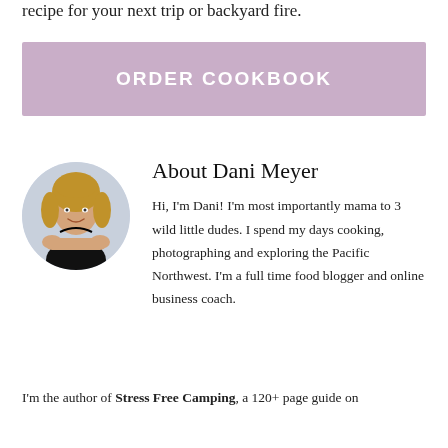recipe for your next trip or backyard fire.
ORDER COOKBOOK
About Dani Meyer
[Figure (photo): Circular portrait photo of Dani Meyer, a woman with long wavy hair wearing a black off-shoulder top, arms crossed, smiling, against a light background.]
Hi, I’m Dani! I’m most importantly mama to 3 wild little dudes. I spend my days cooking, photographing and exploring the Pacific Northwest. I’m a full time food blogger and online business coach.
I’m the author of Stress Free Camping, a 120+ page guide on